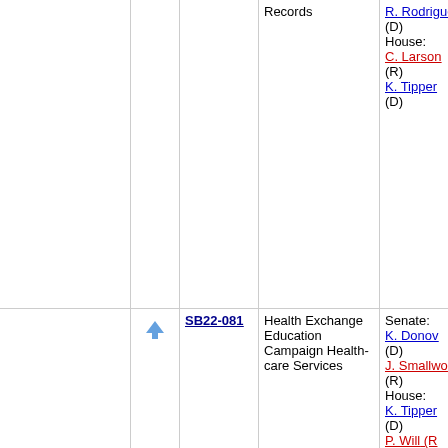|  |  | Bill | Description | Sponsors |
| --- | --- | --- | --- | --- |
|  |  |  | Records | R. Rodriguez (D)
House: C. Larson (R)
K. Tipper (D) |
| ↑ | SB22-081 | Health Exchange Education Campaign Health-care Services | Senate: K. Donovan (D)
J. Smallwood (R)
House: K. Tipper (D)
P. Will (R) |
| ↑ | SB22-049 | Victim Rights Act | Senate: R. Fields (D)
R. Gardner (R)
House: T. Carver (R)
K. Tipper |